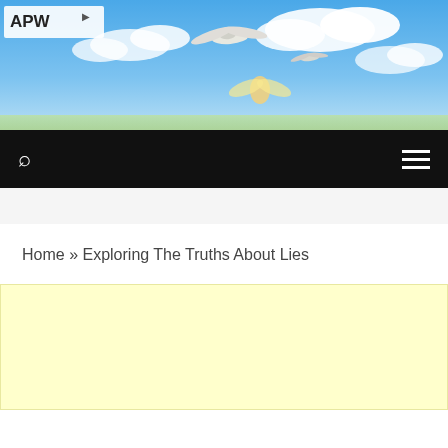[Figure (illustration): Website header banner showing birds flying against a blue sky with clouds. APW logo in top-left corner.]
APW
Home » Exploring The Truths About Lies
[Figure (other): Yellow advertisement block]